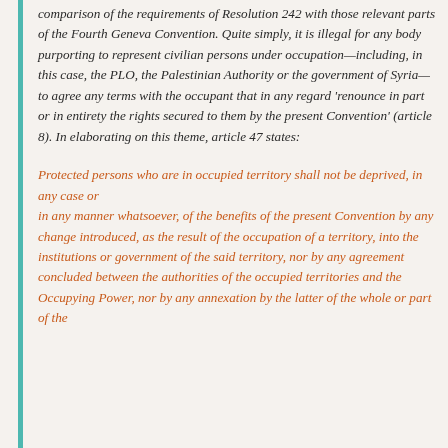comparison of the requirements of Resolution 242 with those relevant parts of the Fourth Geneva Convention. Quite simply, it is illegal for any body purporting to represent civilian persons under occupation—including, in this case, the PLO, the Palestinian Authority or the government of Syria—to agree any terms with the occupant that in any regard 'renounce in part or in entirety the rights secured to them by the present Convention' (article 8). In elaborating on this theme, article 47 states:
Protected persons who are in occupied territory shall not be deprived, in any case or in any manner whatsoever, of the benefits of the present Convention by any change introduced, as the result of the occupation of a territory, into the institutions or government of the said territory, nor by any agreement concluded between the authorities of the occupied territories and the Occupying Power, nor by any annexation by the latter of the whole or part of the